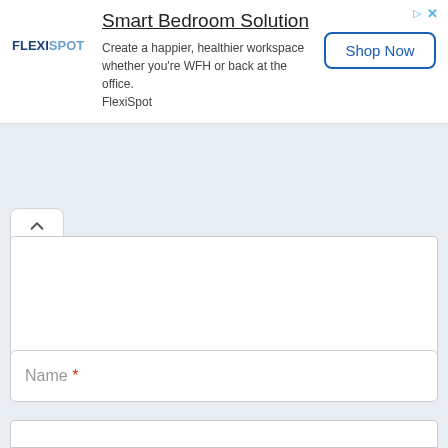[Figure (screenshot): FlexiSpot advertisement banner with logo, title 'Smart Bedroom Solution', description text, and 'Shop Now' button]
Name *